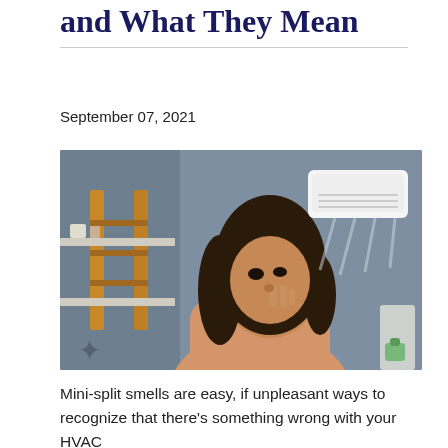and What They Mean
September 07, 2021
[Figure (photo): Woman pinching her nose near a mini-split air conditioner mounted on a gray wall indoors]
Mini-split smells are easy, if unpleasant ways to recognize that there's something wrong with your HVAC